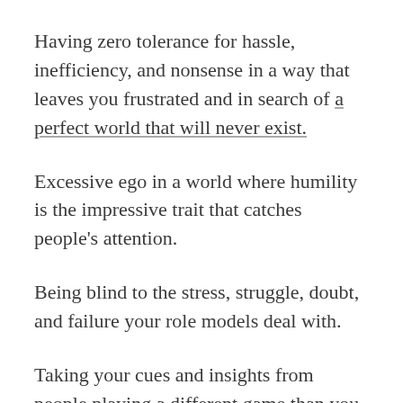Having zero tolerance for hassle, inefficiency, and nonsense in a way that leaves you frustrated and in search of a perfect world that will never exist.
Excessive ego in a world where humility is the impressive trait that catches people’s attention.
Being blind to the stress, struggle, doubt, and failure your role models deal with.
Taking your cues and insights from people playing a different game than you are.